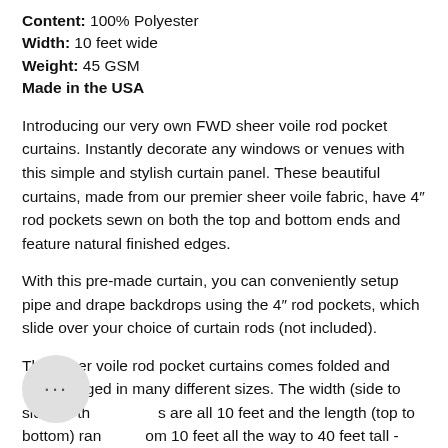Content: 100% Polyester
Width: 10 feet wide
Weight: 45 GSM
Made in the USA
Introducing our very own FWD sheer voile rod pocket curtains. Instantly decorate any windows or venues with this simple and stylish curtain panel. These beautiful curtains, made from our premier sheer voile fabric, have 4″ rod pockets sewn on both the top and bottom ends and feature natural finished edges.
With this pre-made curtain, you can conveniently setup pipe and drape backdrops using the 4″ rod pockets, which slide over your choice of curtain rods (not included).
The sheer voile rod pocket curtains comes folded and prepackaged in many different sizes. The width (side to side) of the curtains are all 10 feet and the length (top to bottom) ranges from 10 feet all the way to 40 feet tall - this helps accommodate venue heights of all sizes. For best appearance